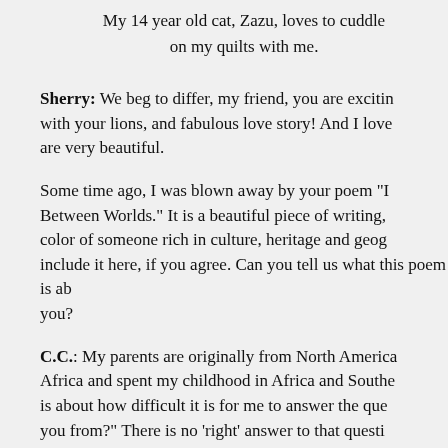My 14 year old cat, Zazu, loves to cuddle on my quilts with me.
Sherry: We beg to differ, my friend, you are exciting with your lions, and fabulous love story! And I love are very beautiful.
Some time ago, I was blown away by your poem "I Between Worlds." It is a beautiful piece of writing, color of someone rich in culture, heritage and geog include it here, if you agree. Can you tell us what this poem is ab you?
C.C.: My parents are originally from North America Africa and spent my childhood in Africa and Southe is about how difficult it is for me to answer the que you from?" There is no 'right' answer to that questi from between worlds, and cannot simply just pick o meaning this poem holds for me is in the way that i my history, specifically all the places I am 'from'